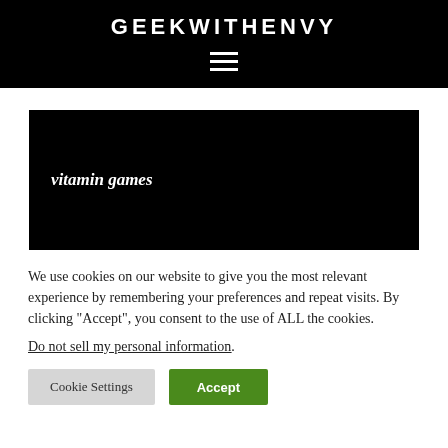GEEKWITHENVY
[Figure (other): Hamburger menu icon (three horizontal white lines on black background)]
vitamin games
We use cookies on our website to give you the most relevant experience by remembering your preferences and repeat visits. By clicking “Accept”, you consent to the use of ALL the cookies.
Do not sell my personal information.
Cookie Settings  Accept